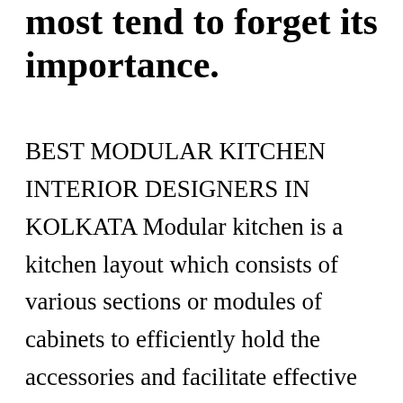most tend to forget its importance.
BEST MODULAR KITCHEN INTERIOR DESIGNERS IN KOLKATA Modular kitchen is a kitchen layout which consists of various sections or modules of cabinets to efficiently hold the accessories and facilitate effective usage of kitchen space. Interior design-We can become an integral part of your life by helping you to organize your home interiors. West Interiors – An Expert Interior De[CLOSE X]f Kolkata. In